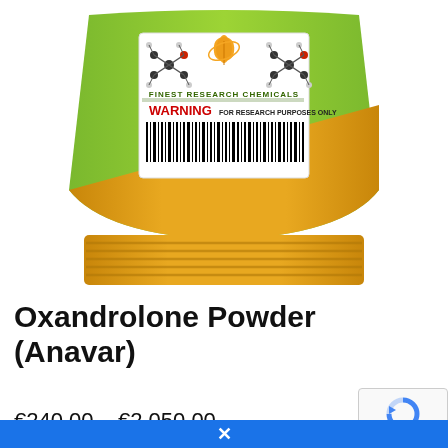[Figure (illustration): A product package bag with green and golden/yellow coloring. The bag has a white label showing molecular structure graphics, a cannabis leaf logo, 'FINEST RESEARCH CHEMICALS' text, 'WARNING FOR RESEARCH PURPOSES ONLY' text, and a barcode. The lower portion of the bag is golden/yellow with horizontal ridges.]
Oxandrolone Powder (Anavar)
€240.00 – €2,050.00